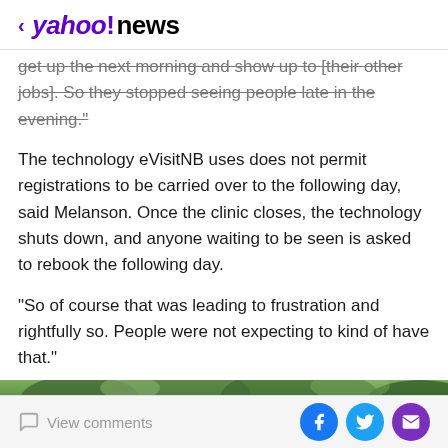< yahoo!news
get up the next morning and show up to [their other jobs]. So they stopped seeing people late in the evening."
The technology eVisitNB uses does not permit registrations to be carried over to the following day, said Melanson. Once the clinic closes, the technology shuts down, and anyone waiting to be seen is asked to rebook the following day.
"So of course that was leading to frustration and rightfully so. People were not expecting to kind of have that."
[Figure (photo): Outdoor photo showing trees/foliage and partial view of a person, cropped at bottom of page]
View comments | Facebook share | Twitter share | Email share